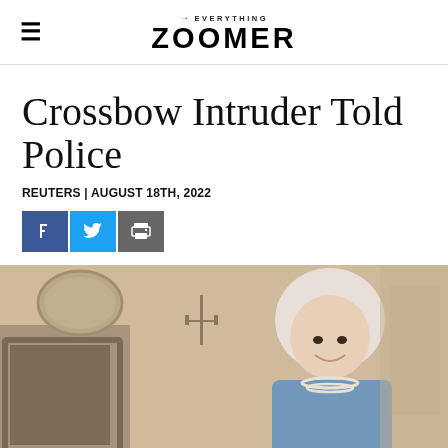Everything ZOOMER
Crossbow Intruder Told Police
REUTERS | AUGUST 18TH, 2022
[Figure (other): Social sharing buttons: Facebook, Twitter, Print]
[Figure (photo): Photo of an elderly woman smiling, wearing a blue floral outfit and pearl necklace, seated in an ornate room with fireplace and candelabra in the background]